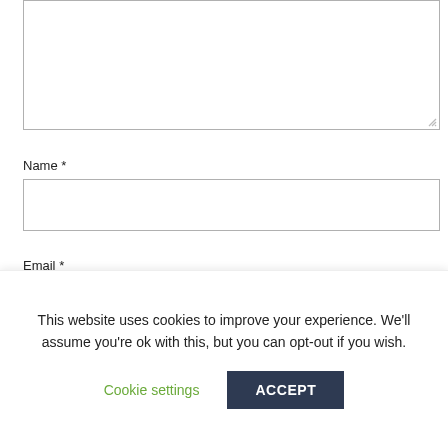[Figure (screenshot): A large text area input box (form field for comment/message), partially visible at top of page, with a resize handle in the bottom-right corner.]
Name *
[Figure (screenshot): A single-line text input field for the Name form field.]
Email *
[Figure (screenshot): A single-line text input field for the Email form field, partially cropped at bottom.]
This website uses cookies to improve your experience. We'll assume you're ok with this, but you can opt-out if you wish.
Cookie settings
ACCEPT